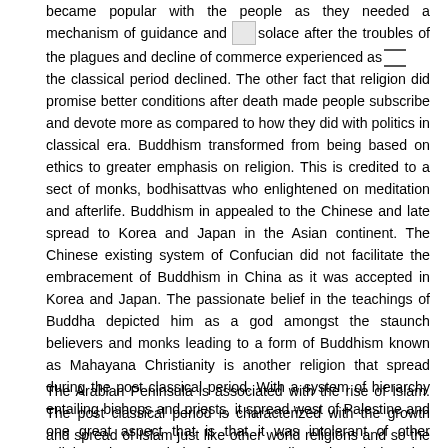became popular with the people as they needed a mechanism of guidance and solace after the troubles of the plagues and decline of commerce experienced as the classical period declined. The other fact that religion did promise better conditions after death made people subscribe and devote more as compared to how they did with politics in classical era. Buddhism transformed from being based on ethics to greater emphasis on religion. This is credited to a sect of monks, bodhisattvas who enlightened on meditation and afterlife. Buddhism in appealed to the Chinese and late spread to Korea and Japan in the Asian continent. The Chinese existing system of Confucian did not facilitate the embracement of Buddhism in China as it was accepted in Korea and Japan. The passionate belief in the teachings of Buddha depicted him as a god amongst the staunch believers and monks leading to a form of Buddhism known as Mahayana Christianity is another religion that spread during the post classical period. With a system of hierarchy entailing bishops and priests, it spread west of Palestine and one great aspect that is that it was intolerant of other religions thus needed a faster spreading. The missionaries played a big role in ensuring this urgency was well served as they travelled to various territories of the world in some cases alongside the traders. The Roman empire formed its richest ground especially after emperor Constantine conversion and declaring Christianity as the officially recognized religion in the roman empire. It was centralized on devotion to Christ over the state and politics and also put significant consideration on the equality of all members of the society.
The Arabian Peninsula is associated with the rise of Islam. The post classical period is characterized with the growth and spread of Islam just like other world religions and so the post classical era saw a considerable growth and spread of